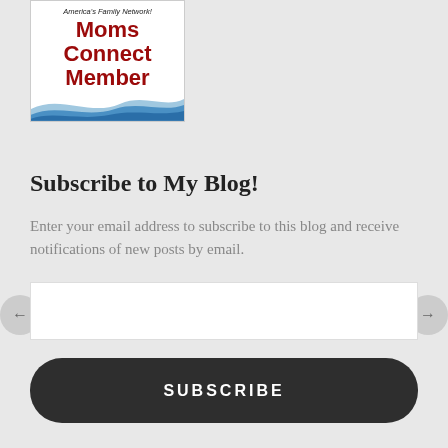[Figure (logo): Moms Connect Member badge - America's Family Network logo with red bold text and blue wave graphic]
Subscribe to My Blog!
Enter your email address to subscribe to this blog and receive notifications of new posts by email.
SUBSCRIBE